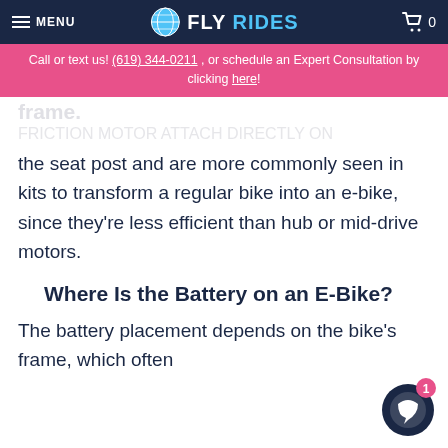MENU | FLY RIDES | 0
Call or text us! (619) 344-0211 , or schedule an Expert Consultation by clicking here!
the seat post and are more commonly seen in kits to transform a regular bike into an e-bike, since they're less efficient than hub or mid-drive motors.
Where Is the Battery on an E-Bike?
The battery placement depends on the bike's frame, which often